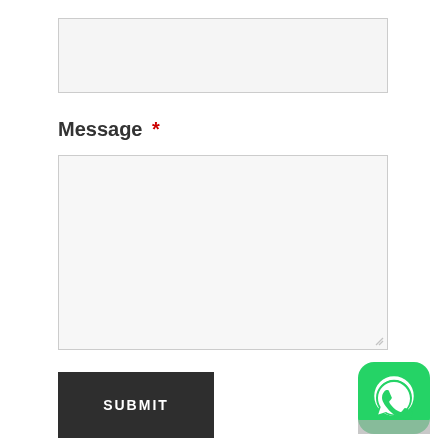[Figure (screenshot): Empty text input field with light gray background and border]
Message *
[Figure (screenshot): Large empty textarea with light gray background, border, and resize handle in bottom-right corner]
[Figure (screenshot): Dark gray SUBMIT button with white bold uppercase text]
[Figure (logo): WhatsApp icon - green rounded square with white phone/chat bubble logo]